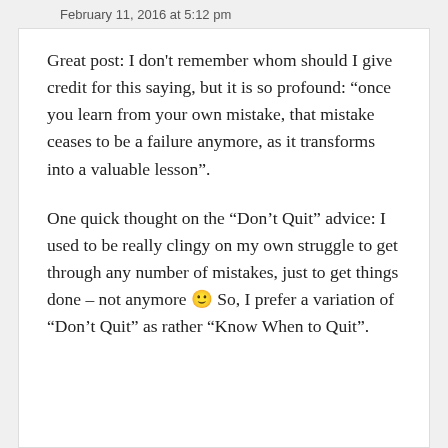February 11, 2016 at 5:12 pm
Great post: I don't remember whom should I give credit for this saying, but it is so profound: “once you learn from your own mistake, that mistake ceases to be a failure anymore, as it transforms into a valuable lesson”.
One quick thought on the “Don’t Quit” advice: I used to be really clingy on my own struggle to get through any number of mistakes, just to get things done – not anymore 🙂 So, I prefer a variation of “Don’t Quit” as rather “Know When to Quit”.